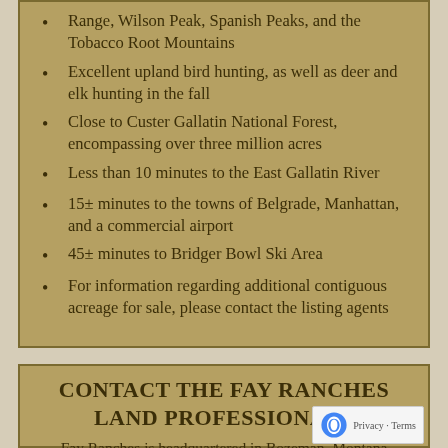Range, Wilson Peak, Spanish Peaks, and the Tobacco Root Mountains
Excellent upland bird hunting, as well as deer and elk hunting in the fall
Close to Custer Gallatin National Forest, encompassing over three million acres
Less than 10 minutes to the East Gallatin River
15± minutes to the towns of Belgrade, Manhattan, and a commercial airport
45± minutes to Bridger Bowl Ski Area
For information regarding additional contiguous acreage for sale, please contact the listing agents
CONTACT THE FAY RANCHES LAND PROFESSIONALS
Fay Ranches is headquartered in Bozeman, Montana